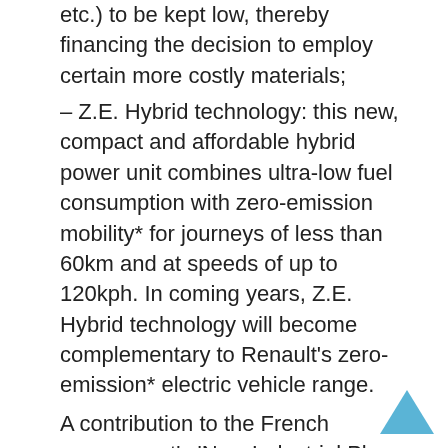etc.) to be kept low, thereby financing the decision to employ certain more costly materials;
– Z.E. Hybrid technology: this new, compact and affordable hybrid power unit combines ultra-low fuel consumption with zero-emission mobility* for journeys of less than 60km and at speeds of up to 120kph. In coming years, Z.E. Hybrid technology will become complementary to Renault's zero-emission* electric vehicle range.
A contribution to the French government's 'New Industrial Plan
EOLAB forms part of the 'fuel consumption of 2 litres/100km for all' plan introduced within the framework of France's so-called New Industrial Plan. However, EOLAB goes further than the fuel consumption target set by the French government since it sets its sights on the much longer term. In the course of the prototype's design, Renault